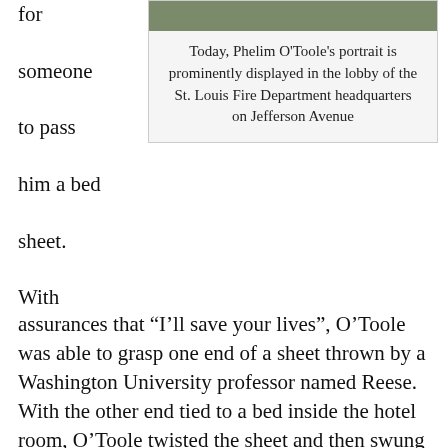for someone to pass him a bed sheet. With
[Figure (photo): Photograph displayed at top of right column, partially visible, showing a portrait or scene related to Phelim O'Toole.]
Today, Phelim O'Toole's portrait is prominently displayed in the lobby of the St. Louis Fire Department headquarters on Jefferson Avenue
assurances that “I’ll save your lives”, O’Toole was able to grasp one end of a sheet thrown by a Washington University professor named Reese. With the other end tied to a bed inside the hotel room, O’Toole twisted the sheet and then swung himself off the ladder. Dangling fifty feet above the ground, and with a remarkable faith in an English professor’s knot-tying skills, O’Toole climbed hand-over-hand up the side of the hotel and into the burning hotel room. Reese and his family must